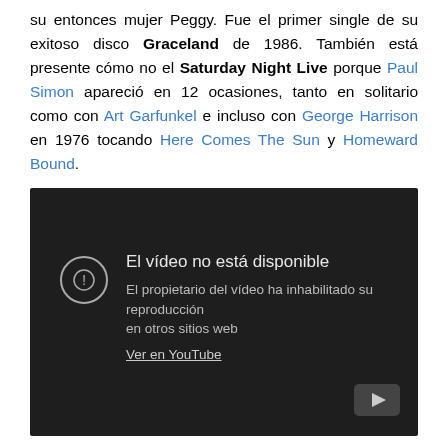su entonces mujer Peggy. Fue el primer single de su exitoso disco Graceland de 1986. También está presente cómo no el Saturday Night Live porque Paul Simon apareció en 12 ocasiones, tanto en solitario como con Art Garfunkel e incluso con George Harrison en 1976 tocando Here Comes The Sun y Homeward Bound.
[Figure (screenshot): Embedded YouTube video player showing error message: 'El vídeo no está disponible. El propietario del vídeo ha inhabilitado su reproducción en otros sitios web. Ver en YouTube.']